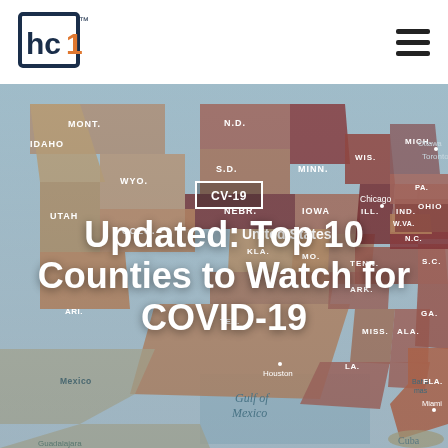[Figure (logo): hc1 company logo - stylized square bracket with 'hc' text and orange '1']
[Figure (map): US map showing COVID-19 county-level data with states labeled, color-coded heat map showing infection rates. States visible include MONT., N.D., MINN., WIS., MICH., IDAHO, WYO., S.D., IOWA, ILL., IND., OHIO, PA., NEE., UTAH, COLO., MO., W.VA., N.C., ARI., KLA., TENN., ARK., S.C., TEX., MISS., ALA., GA., LA., FLA. Cities labeled: Chicago, Toronto, Ottawa, Houston, Miami. Bodies of water: Gulf of Mexico. Countries: Mexico, Cuba.]
CV-19
Updated: Top 10 Counties to Watch for COVID-19